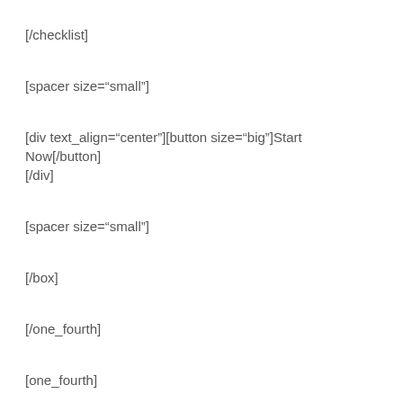[/checklist]
[spacer size="small"]
[div text_align="center"][button size="big"]Start Now[/button][/div]
[spacer size="small"]
[/box]
[/one_fourth]
[one_fourth]